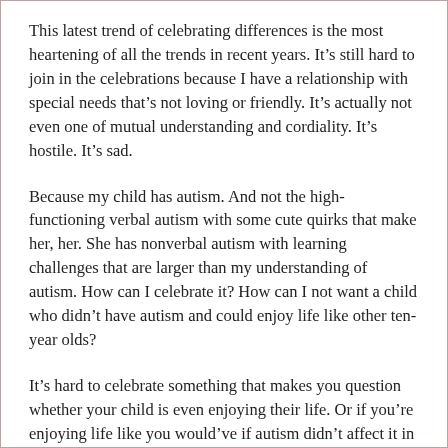This latest trend of celebrating differences is the most heartening of all the trends in recent years. It’s still hard to join in the celebrations because I have a relationship with special needs that’s not loving or friendly. It’s actually not even one of mutual understanding and cordiality. It’s hostile. It’s sad.
Because my child has autism. And not the high-functioning verbal autism with some cute quirks that make her, her. She has nonverbal autism with learning challenges that are larger than my understanding of autism. How can I celebrate it? How can I not want a child who didn’t have autism and could enjoy life like other ten-year olds?
It’s hard to celebrate something that makes you question whether your child is even enjoying their life. Or if you’re enjoying life like you would’ve if autism didn’t affect it in all its reality.